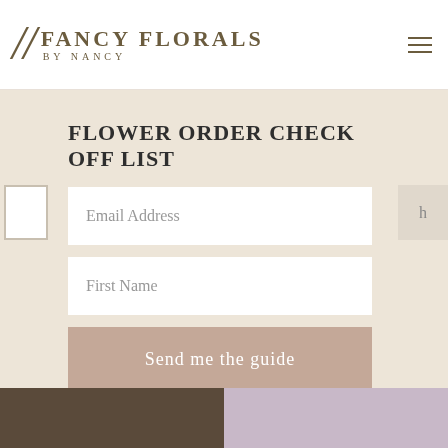[Figure (logo): Fancy Florals by Nancy logo with script F initials and serif uppercase wordmark]
FLOWER ORDER CHECK OFF LIST
Email Address
First Name
Send me the guide
We respect your privacy. Unsubscribe at anytime.
[Figure (photo): Bottom strip showing ribbon spools and floral arrangement photos]